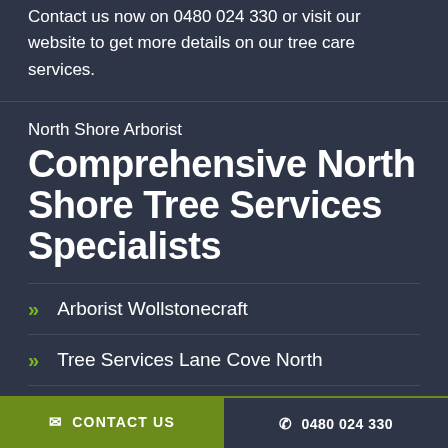Contact us now on 0480 024 330 or visit our website to get more details on our tree care services.
North Shore Arborist
Comprehensive North Shore Tree Services Specialists
Arborist Wollstonecraft
Tree Services Lane Cove North
CONTACT US  |  0480 024 330